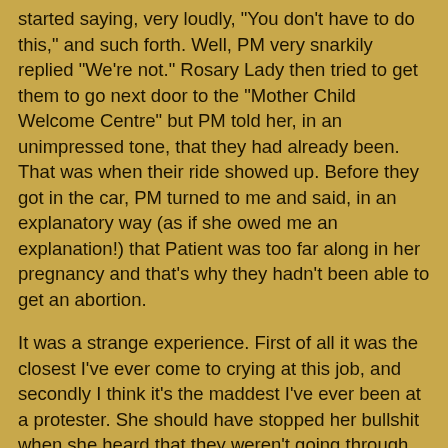started saying, very loudly, "You don't have to do this," and such forth. Well, PM very snarkily replied "We're not." Rosary Lady then tried to get them to go next door to the "Mother Child Welcome Centre" but PM told her, in an unimpressed tone, that they had already been. That was when their ride showed up. Before they got in the car, PM turned to me and said, in an explanatory way (as if she owed me an explanation!) that Patient was too far along in her pregnancy and that's why they hadn't been able to get an abortion.
It was a strange experience. First of all it was the closest I've ever come to crying at this job, and secondly I think it's the maddest I've ever been at a protester. She should have stopped her bullshit when she heard that they weren't going through with it. She's not having the abortion - what more do you want? Do you have to try to brainwash her as well? Also I found it strange that the mother felt she had to tell me why they weren't having it. As if I was going to judge the patient for not going through with it! I guess when abortion is treated the way it is in this province, and having to walk through a bunch of crazy fundamentalists yelling at you on your way into the clinic, it's natural to think everyone is judging you -